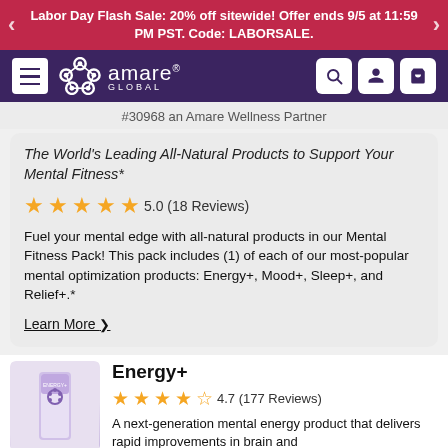Labor Day Flash Sale: 20% off sitewide! Offer ends 9/5 at 11:59 PM PST. Code: LABORSALE.
[Figure (logo): Amare Global logo with navigation bar including hamburger menu, search, account, and cart icons]
#30968 an Amare Wellness Partner
The World's Leading All-Natural Products to Support Your Mental Fitness*
5.0 (18 Reviews)
Fuel your mental edge with all-natural products in our Mental Fitness Pack! This pack includes (1) of each of our most-popular mental optimization products: Energy+, Mood+, Sleep+, and Relief+.*
Learn More ›
Energy+
4.7 (177 Reviews)
A next-generation mental energy product that delivers rapid improvements in brain and